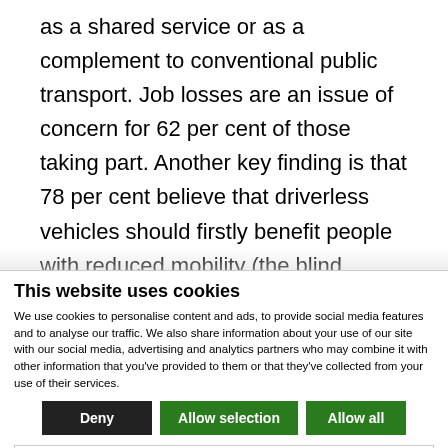as a shared service or as a complement to conventional public transport. Job losses are an issue of concern for 62 per cent of those taking part. Another key finding is that 78 per cent believe that driverless vehicles should firstly benefit people with reduced mobility (the blind, disabled and elderly). We hadn't considered this type of use
This website uses cookies
We use cookies to personalise content and ads, to provide social media features and to analyse our traffic. We also share information about your use of our site with our social media, advertising and analytics partners who may combine it with other information that you've provided to them or that they've collected from your use of their services.
Deny | Allow selection | Allow all
Necessary  Preferences  Statistics  Marketing  Show details